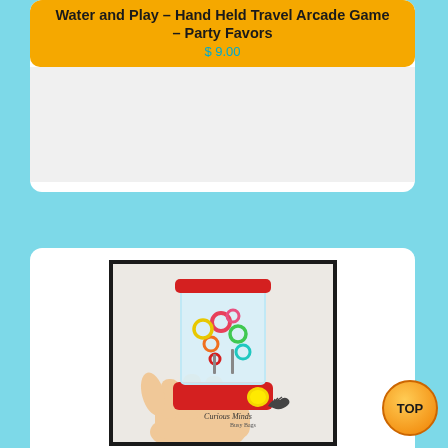Water and Play – Hand Held Travel Arcade Game – Party Favors
$ 9.00
[Figure (photo): Product card showing a hand holding a small red water ring-toss arcade game with colorful rings inside a clear water chamber, with a yellow button at the bottom. Curious Minds Busy Bags logo visible in lower right of photo.]
Small Water Games – Push Button to Put Rings on Pegs – Hand Held Travel Arcade Game – Party Favors
from $ 3.00